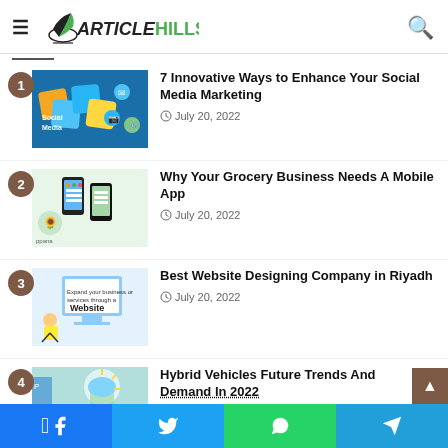ArticleHills
1. 7 Innovative Ways to Enhance Your Social Media Marketing — July 20, 2022
2. Why Your Grocery Business Needs A Mobile App — July 20, 2022
3. Best Website Designing Company in Riyadh — July 20, 2022
4. Hybrid Vehicles Future Trends And Demand In 2022